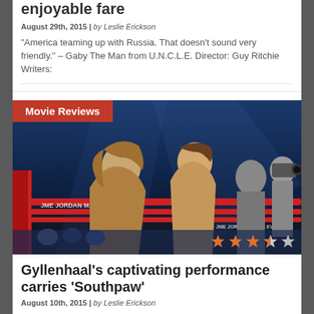enjoyable fare
August 29th, 2015 | by Leslie Erickson
“America teaming up with Russia. That doesn’t sound very friendly.” – Gaby The Man from U.N.C.L.E. Director: Guy Ritchie Writers:
[Figure (photo): Boxing ring scene with two people facing each other leaning over the ropes, with a 'Movie Reviews' red badge overlay and 3.5 star rating overlay]
Gyllenhaal’s captivating performance carries ‘Southpaw’
August 10th, 2015 | by Leslie Erickson
“A fighter knows only one way to work” – Billy Hope Southpaw Director: Antoine Fuqua Writers: Kurt Sutter Stars: Jake